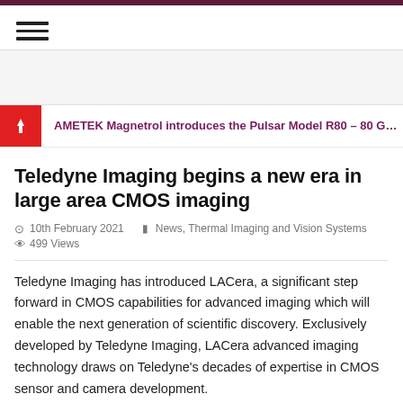≡
AMETEK Magnetrol introduces the Pulsar Model R80 – 80 GHz Radar Level
Teledyne Imaging begins a new era in large area CMOS imaging
10th February 2021   News, Thermal Imaging and Vision Systems   499 Views
Teledyne Imaging has introduced LACera, a significant step forward in CMOS capabilities for advanced imaging which will enable the next generation of scientific discovery. Exclusively developed by Teledyne Imaging, LACera advanced imaging technology draws on Teledyne's decades of expertise in CMOS sensor and camera development.
Scientifi...
[Figure (logo): Teledyne Imaging logo with blue triangle and company name]